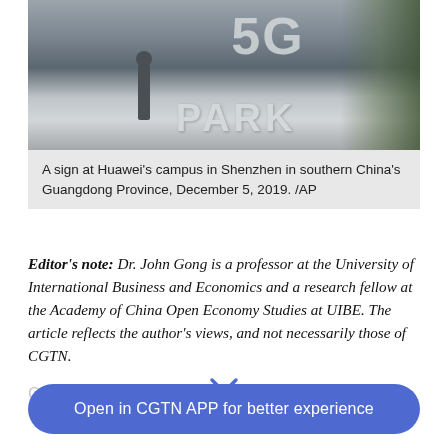[Figure (photo): A sign at Huawei's campus in Shenzhen showing large white lettering '5G PARK', with a person standing in front of it and greenery in the background.]
A sign at Huawei's campus in Shenzhen in southern China's Guangdong Province, December 5, 2019. /AP
Editor's note: Dr. John Gong is a professor at the University of International Business and Economics and a research fellow at the Academy of China Open Economy Studies at UIBE. The article reflects the author's views, and not necessarily those of CGTN.
China's 2020 Central Economic Work
Open in CGTN APP for better experience